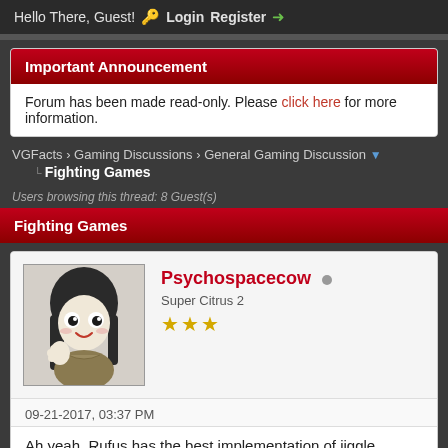Hello There, Guest! Login Register
Forum has been made read-only. Please click here for more information.
VGFacts › Gaming Discussions › General Gaming Discussion
Fighting Games
Users browsing this thread: 8 Guest(s)
Fighting Games
Psychospacecow
Super Citrus 2
★★★
09-21-2017, 03:37 PM
Ah yeah. Rufus has the best implementation of jiggle physics in gami